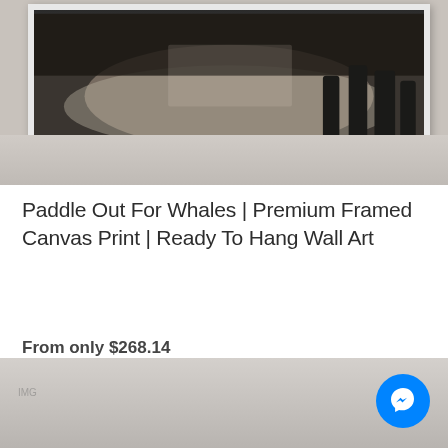[Figure (photo): Black and white framed photograph mounted on a wall showing children running on a beach or in water, displayed as a premium framed canvas print on a grey wall]
Paddle Out For Whales | Premium Framed Canvas Print | Ready To Hang Wall Art
From only $268.14
[Figure (photo): Partial view of another framed canvas print at the bottom of the page, showing a grey/silver background with a Messenger chat button overlay]